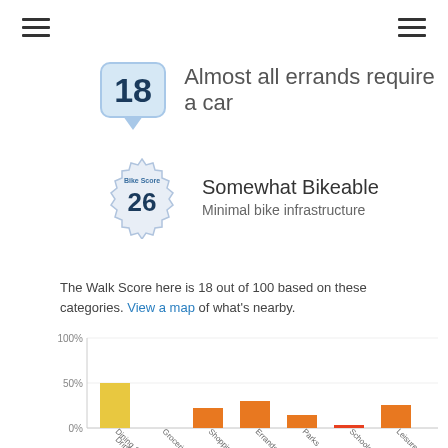[Figure (infographic): Walk Score badge showing score 18 with speech bubble design]
Almost all errands require a car
[Figure (infographic): Bike Score badge showing score 26 with gear/badge design]
Somewhat Bikeable
Minimal bike infrastructure
The Walk Score here is 18 out of 100 based on these categories. View a map of what's nearby.
[Figure (bar-chart): Walk Score categories]